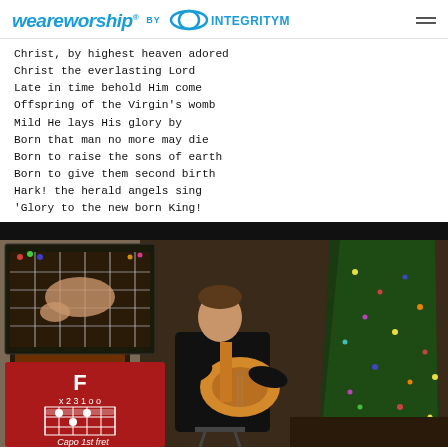weareworship BY INTEGRITYMUSIC
Christ, by highest heaven adored
Christ the everlasting Lord
Late in time behold Him come
Offspring of the Virgin's womb
Mild He lays His glory by
Born that man no more may die
Born to raise the sons of earth
Born to give them second birth
Hark! the herald angels sing
'Glory to the new born King!
[Figure (screenshot): Video screenshot showing a man playing an acoustic guitar in a room decorated for Christmas with a Christmas tree. An inset in the upper left shows a close-up of guitar hands on the fretboard. A red overlay card shows guitar chord diagram for F chord with fingering x231xx and text 'Capo 1st fret'.]